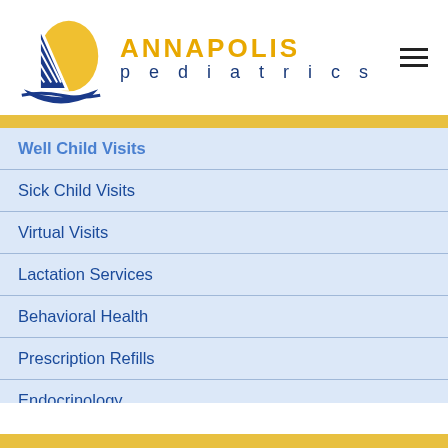[Figure (logo): Annapolis Pediatrics logo with sailboat icon in blue and gold, and text 'ANNAPOLIS pediatrics']
Well Child Visits
Sick Child Visits
Virtual Visits
Lactation Services
Behavioral Health
Prescription Refills
Endocrinology